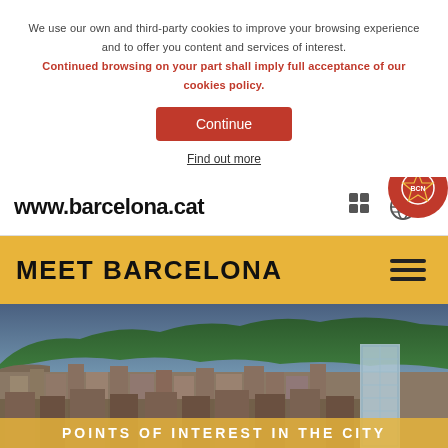We use our own and third-party cookies to improve your browsing experience and to offer you content and services of interest. Continued browsing on your part shall imply full acceptance of our cookies policy.
Continue
Find out more
www.barcelona.cat
MEET BARCELONA
[Figure (photo): Aerial panoramic photograph of Barcelona city with densely packed buildings, green hills (Collserola) in the background, and a tall modern building on the right. Partially cut off text at bottom reads POINTS OF INTEREST IN THE CITY.]
POINTS OF INTEREST IN THE CITY